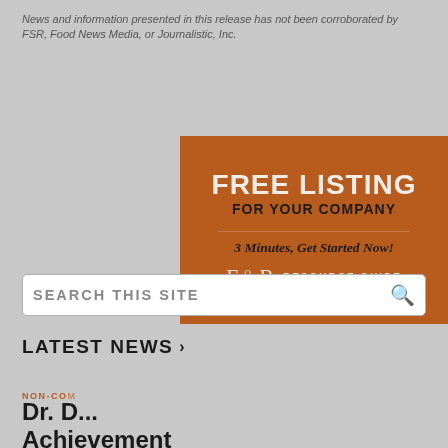News and information presented in this release has not been corroborated by FSR, Food News Media, or Journalistic, Inc.
[Figure (advertisement): Orange/brown advertisement banner for FSR Resource Guide. Text reads: FREE LISTING FOR YOUR COMPANY / 3 Minutes, Get Started Now! / FSR RESOURCE GUIDE]
SEARCH THIS SITE
LATEST NEWS >
NON-COM
Dr. D... Achievement Award
[Figure (advertisement): Dole brand advertisement banner with green background. Text reads: WITH LESS LABOR AND ZERO WASTE, DOLE® IS BRIGHT BEHIND YOU. Shows Dole logo on left and produce imagery on right.]